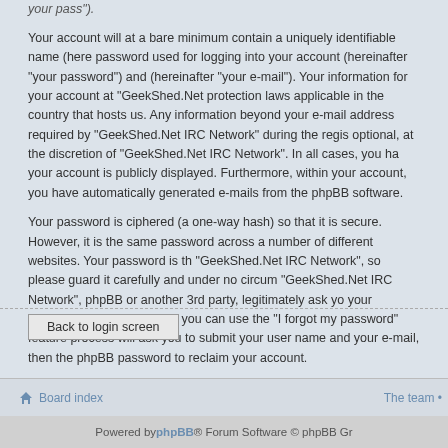your pass").
Your account will at a bare minimum contain a uniquely identifiable name (here password used for logging into your account (hereinafter "your password") and (hereinafter "your e-mail"). Your information for your account at "GeekShed.Net protection laws applicable in the country that hosts us. Any information beyond your e-mail address required by "GeekShed.Net IRC Network" during the regis optional, at the discretion of "GeekShed.Net IRC Network". In all cases, you ha your account is publicly displayed. Furthermore, within your account, you have automatically generated e-mails from the phpBB software.
Your password is ciphered (a one-way hash) so that it is secure. However, it is the same password across a number of different websites. Your password is th "GeekShed.Net IRC Network", so please guard it carefully and under no circum "GeekShed.Net IRC Network", phpBB or another 3rd party, legitimately ask yo your password for your account, you can use the "I forgot my password" feature process will ask you to submit your user name and your e-mail, then the phpBB password to reclaim your account.
Back to login screen
Board index • The team
Powered by phpBB® Forum Software © phpBB Gr